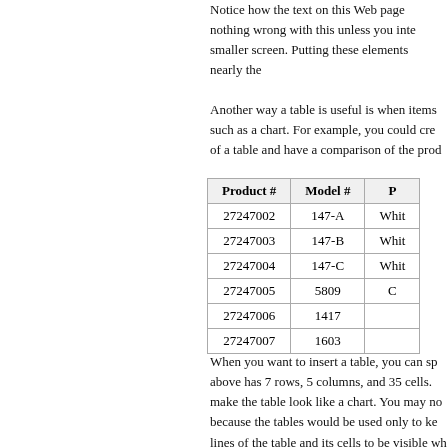Notice how the text on this Web page nothing wrong with this unless you inte smaller screen. Putting these elements nearly the
Another way a table is useful is when items such as a chart. For example, you could cre of a table and have a comparison of the prod
| Product # | Model # | ... |
| --- | --- | --- |
| 27247002 | 147-A | Whit... |
| 27247003 | 147-B | Whit... |
| 27247004 | 147-C | Whit... |
| 27247005 | 5809 | C... |
| 27247006 | 1417 | ... |
| 27247007 | 1603 | ... |
When you want to insert a table, you can sp above has 7 rows, 5 columns, and 35 cells. make the table look like a chart. You may no because the tables would be used only to ke lines of the table and its cells to be visible wh
Text
The text that you place into a Dreamweaver Format submenu. You can also use the Prop and text alignment. You can change the style bulleted and numbered lists. The Property I